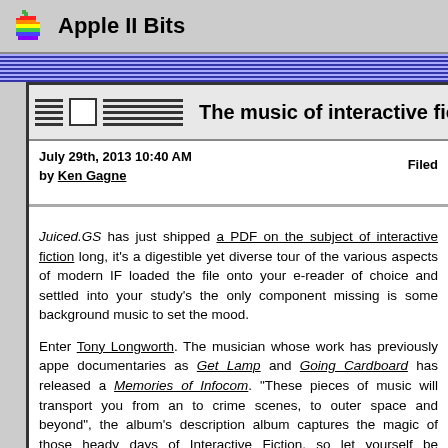Apple II Bits
The music of interactive fiction
July 29th, 2013 10:40 AM
by Ken Gagne
Filed
Juiced.GS has just shipped a PDF on the subject of interactive fiction long, it's a digestible yet diverse tour of the various aspects of modern IF loaded the file onto your e-reader of choice and settled into your study's the only component missing is some background music to set the mood.
Enter Tony Longworth. The musician whose work has previously appe documentaries as Get Lamp and Going Cardboard has released a Memories of Infocom. "These pieces of music will transport you from an to crime scenes, to outer space and beyond", the album's description album captures the magic of those heady days of Interactive Fiction, so let yourself be transported to the 80s when text was king." The dozen purchased for a dollar each or $9.99 for the lot, which clocks in at 57:55.